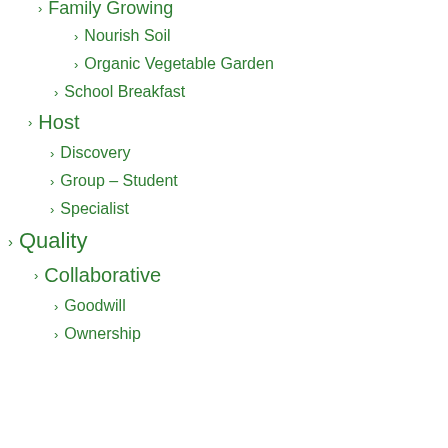Family Growing
Nourish Soil
Organic Vegetable Garden
School Breakfast
Host
Discovery
Group – Student
Specialist
Quality
Collaborative
Goodwill
Ownership